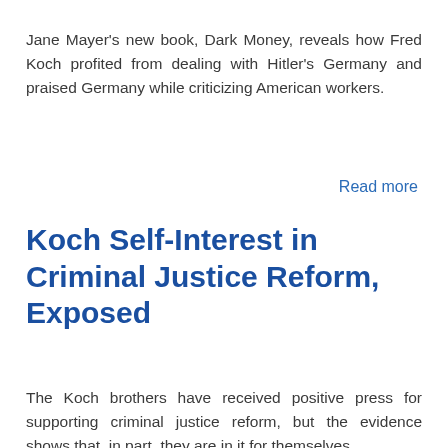Jane Mayer's new book, Dark Money, reveals how Fred Koch profited from dealing with Hitler's Germany and praised Germany while criticizing American workers.
Read more
Koch Self-Interest in Criminal Justice Reform, Exposed
[Figure (other): Facebook Like button showing 117 likes]
The Koch brothers have received positive press for supporting criminal justice reform, but the evidence shows that, in part, they are in it for themselves.